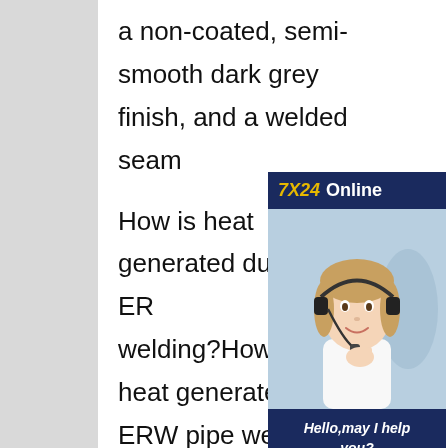a non-coated, semi-smooth dark grey finish, and a welded seam

How is heat generated during ERW welding?How is heat generated during ERW pipe welding?During ERW welding, heat is generated when flows through the contact surfaces welding area. It heats the two edges of the steel to the point where one edge form a bond. At the same time, under the action of the combined pressure, the edges of the tube blank melt and squeeze together.Difference between ERW, HFW,
[Figure (other): Chat widget overlay with '7X24 Online' header in dark navy blue, a photo of a smiling female customer service representative wearing a headset, a navy blue footer with italic text 'Hello,may I help you?' and a yellow 'Get Latest Price' button.]